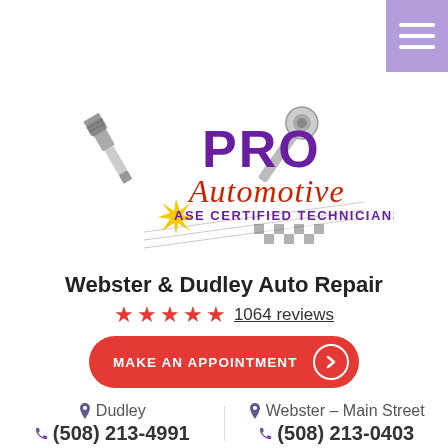[Figure (logo): PRO Automotive ASE Certified Technicians logo with spark plug, ratchet wrench, racing stripes, and starburst]
Webster & Dudley Auto Repair
★★★★★ 1064 reviews
MAKE AN APPOINTMENT →
📍 Dudley
☎ (508) 213-4991
📍 Webster – Main Street
☎ (508) 213-0403